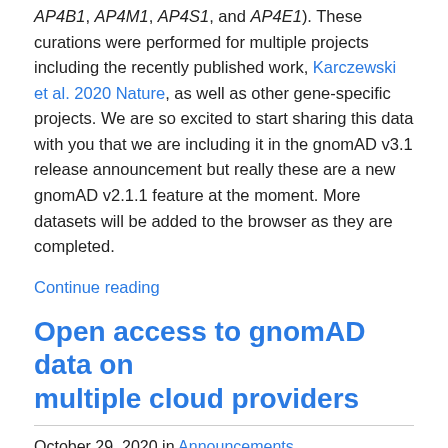AP4B1, AP4M1, AP4S1, and AP4E1). These curations were performed for multiple projects including the recently published work, Karczewski et al. 2020 Nature, as well as other gene-specific projects. We are so excited to start sharing this data with you that we are including it in the gnomAD v3.1 release announcement but really these are a new gnomAD v2.1.1 feature at the moment. More datasets will be added to the browser as they are completed.
Continue reading
Open access to gnomAD data on multiple cloud providers
October 29, 2020 in Announcements
Grace Tiao
We're very pleased to announce that gnomAD data is now